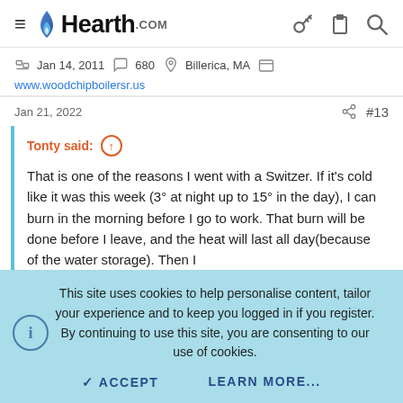Hearth.com
Jan 14, 2011  680  Billerica, MA  www.woodchipboilersr.us
Jan 21, 2022  #13
Tonty said: ↑  That is one of the reasons I went with a Switzer. If it's cold like it was this week (3° at night up to 15° in the day), I can burn in the morning before I go to work. That burn will be done before I leave, and the heat will last all day(because of the water storage). Then I
This site uses cookies to help personalise content, tailor your experience and to keep you logged in if you register. By continuing to use this site, you are consenting to our use of cookies.
✓ ACCEPT    LEARN MORE...